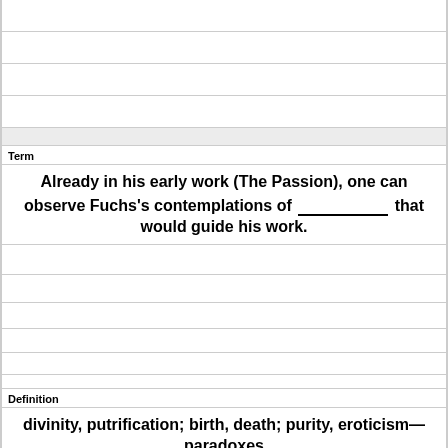|  |
|  |
|  |
|  |
|  |
| Term |
| Already in his early work (The Passion), one can observe Fuchs's contemplations of ___________ that would guide his work. |
|  |
|  |
|  |
|  |
| Definition |
| divinity, putrification; birth, death; purity, eroticism—paradoxes |
|  |